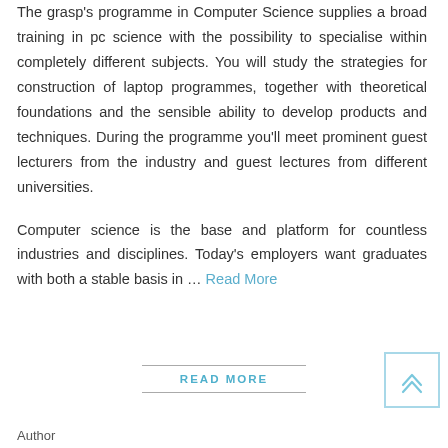The grasp's programme in Computer Science supplies a broad training in pc science with the possibility to specialise within completely different subjects. You will study the strategies for construction of laptop programmes, together with theoretical foundations and the sensible ability to develop products and techniques. During the programme you'll meet prominent guest lecturers from the industry and guest lectures from different universities.

Computer science is the base and platform for countless industries and disciplines. Today's employers want graduates with both a stable basis in … Read More
READ MORE
Author